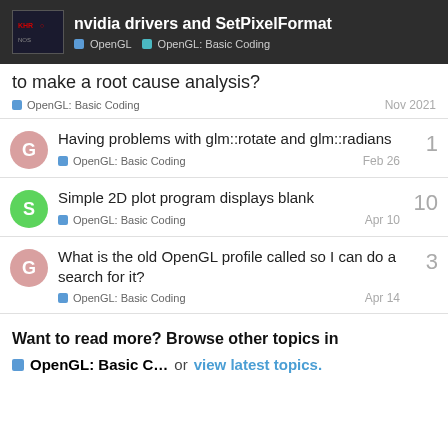nvidia drivers and SetPixelFormat — OpenGL | OpenGL: Basic Coding
to make a root cause analysis?
OpenGL: Basic Coding — Nov 2021
Having problems with glm::rotate and glm::radians — OpenGL: Basic Coding — Feb 26 — replies: 1
Simple 2D plot program displays blank — OpenGL: Basic Coding — Apr 10 — replies: 10
What is the old OpenGL profile called so I can do a search for it? — OpenGL: Basic Coding — Apr 14 — replies: 3
Want to read more? Browse other topics in OpenGL: Basic C... or view latest topics.